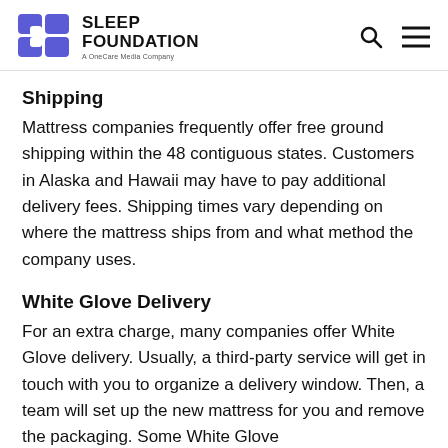Sleep Foundation — A OneCare Media Company
Shipping
Mattress companies frequently offer free ground shipping within the 48 contiguous states. Customers in Alaska and Hawaii may have to pay additional delivery fees. Shipping times vary depending on where the mattress ships from and what method the company uses.
White Glove Delivery
For an extra charge, many companies offer White Glove delivery. Usually, a third-party service will get in touch with you to organize a delivery window. Then, a team will set up the new mattress for you and remove the packaging. Some White Glove